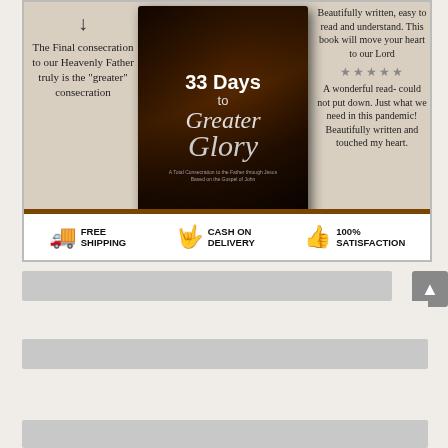[Figure (infographic): Book advertisement for '33 Days to Greater Glory'. Shows book cover in center with left column text about consecration, right column with star reviews, and bottom bar with Free Shipping, Cash on Delivery, 100% Satisfaction icons.]
The Final consecration to our Heavenly Father truly is the "greater" consecration
Beautifully written, easy to read and understand. This book will move your heart to our Lord
A wonderful read- could not put down. Just what we need in this pandemic! Beautifully written and touched my heart.
FREE SHIPPING
CASH ON DELIVERY
100% SATISFACTION